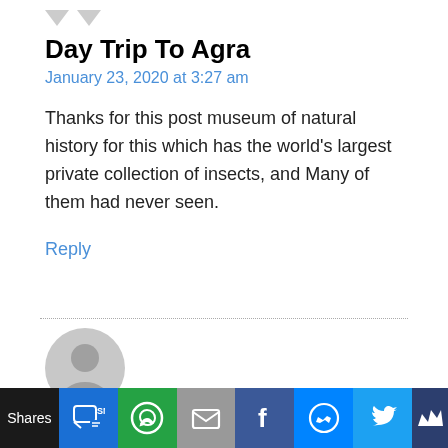[Figure (illustration): Two downward-pointing arrow/chevron icons in light gray]
Day Trip To Agra
January 23, 2020 at 3:27 am
Thanks for this post museum of natural history for this which has the world's largest private collection of insects, and Many of them had never seen.
Reply
[Figure (illustration): Gray default user avatar circle icon]
Brass Tapware
[Figure (infographic): Social share bar at bottom: Shares, SMS, WhatsApp, Email, Facebook, Messenger, Twitter, other icons]